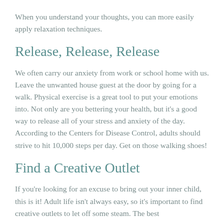When you understand your thoughts, you can more easily apply relaxation techniques.
Release, Release, Release
We often carry our anxiety from work or school home with us. Leave the unwanted house guest at the door by going for a walk. Physical exercise is a great tool to put your emotions into. Not only are you bettering your health, but it's a good way to release all of your stress and anxiety of the day. According to the Centers for Disease Control, adults should strive to hit 10,000 steps per day. Get on those walking shoes!
Find a Creative Outlet
If you're looking for an excuse to bring out your inner child, this is it! Adult life isn't always easy, so it's important to find creative outlets to let off some steam. The best